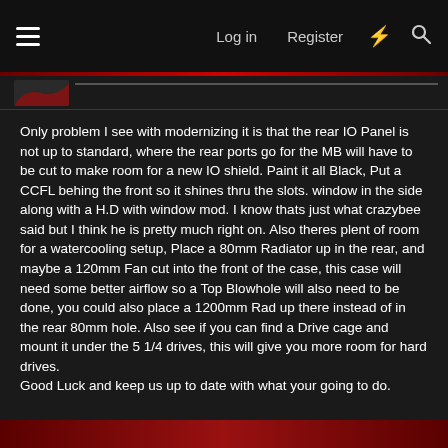Log in  Register
Only problem I see with modernizing it is that the rear IO Panel is not up to standard, where the rear ports go for the MB will have to be cut to make room for a new IO shield. Paint it all Black, Put a CCFL behing the front so it shines thru the slots. window in the side along with a H.D with window mod. I know thats just what crazybee said but I think he is pretty much right on. Also theres plent of room for a watercooling setup, Place a 80mm Radiator up in the rear, and maybe a 120mm Fan cut into the front of the case, this case will need some better airflow so a Top Blowhole will also need to be done, you could also place a 1200mm Rad up there instead of in the rear 80mm hole. Also see if you can find a Drive cage and mount it under the 5 1/4 drives, this will give you more room for hard drives.
Good Luck and keep us up to date with what your going to do.